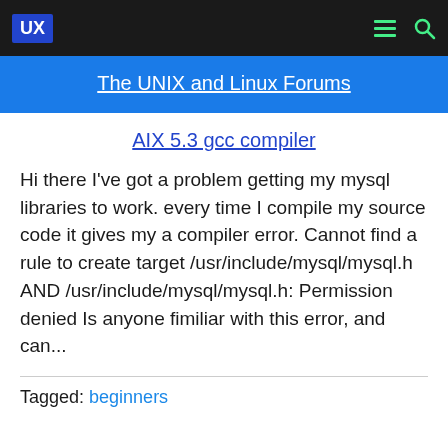UX | The UNIX and Linux Forums
AIX 5.3 gcc compiler
Hi there I've got a problem getting my mysql libraries to work. every time I compile my source code it gives my a compiler error. Cannot find a rule to create target /usr/include/mysql/mysql.h AND /usr/include/mysql/mysql.h: Permission denied Is anyone fimiliar with this error, and can...
Tagged: beginners